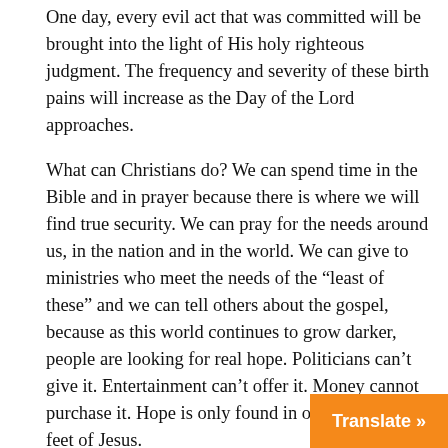One day, every evil act that was committed will be brought into the light of His holy righteous judgment. The frequency and severity of these birth pains will increase as the Day of the Lord approaches.
What can Christians do? We can spend time in the Bible and in prayer because there is where we will find true security. We can pray for the needs around us, in the nation and in the world. We can give to ministries who meet the needs of the “least of these” and we can tell others about the gospel, because as this world continues to grow darker, people are looking for real hope. Politicians can’t give it. Entertainment can’t offer it. Money cannot purchase it. Hope is only found in one place: At the feet of Jesus.
Matthew 11:28 “Come to me, all who labor and are heavy laden, and I will give you rest. Take my yoke upon you, and learn from me, for I am gentle and lowly in heart, and you will find rest for your souls. For my yoke is easy, and my burden is light.”
Translate »